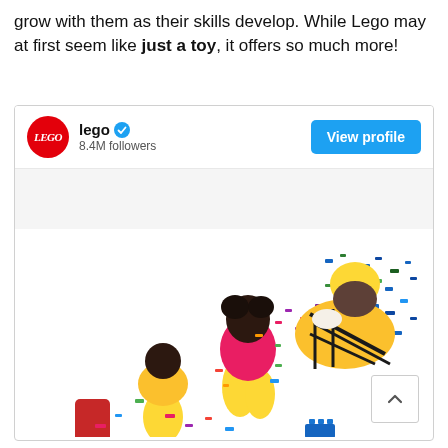grow with them as their skills develop. While Lego may at first seem like just a toy, it offers so much more!
[Figure (screenshot): Screenshot of a LinkedIn/social media profile card for the LEGO account showing: LEGO red circular logo, 'lego' account name with verified checkmark, '8.4M followers', a blue 'View profile' button, and below a photo taken from above of children playing with colorful LEGO pieces scattered on a white floor. Three children are visible, one in a pink top and yellow pants, one in a yellow jacket, and one in a yellow/black plaid shirt. Multi-colored LEGO bricks are spread across the floor.]